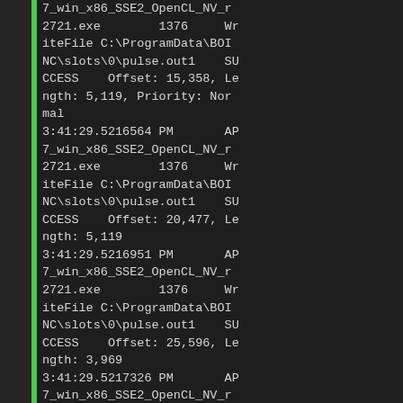7_win_x86_SSE2_OpenCL_NV_r2721.exe    1376    WriteFile C:\ProgramData\BOINC\slots\0\pulse.out1    SUCCESS    Offset: 15,358, Length: 5,119, Priority: Normal
3:41:29.5216564 PM    AP7_win_x86_SSE2_OpenCL_NV_r2721.exe    1376    WriteFile C:\ProgramData\BOINC\slots\0\pulse.out1    SUCCESS    Offset: 20,477, Length: 5,119
3:41:29.5216951 PM    AP7_win_x86_SSE2_OpenCL_NV_r2721.exe    1376    WriteFile C:\ProgramData\BOINC\slots\0\pulse.out1    SUCCESS    Offset: 25,596, Length: 3,969
3:41:29.5217326 PM    AP7_win_x86_SSE2_OpenCL_NV_r